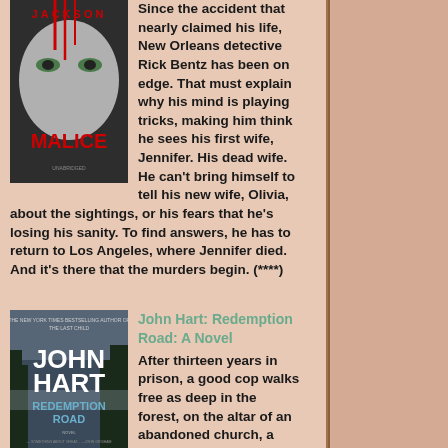[Figure (illustration): Book cover of 'Malice' by Lisa Jackson, showing a pale face with green eyes and red dripping streaks]
Since the accident that nearly claimed his life, New Orleans detective Rick Bentz has been on edge. That must explain why his mind is playing tricks, making him think he sees his first wife, Jennifer. His dead wife. He can't bring himself to tell his new wife, Olivia, about the sightings, or his fears that he's losing his sanity. To find answers, he has to return to Los Angeles, where Jennifer died. And it's there that the murders begin. (****)
[Figure (illustration): Book cover of 'Redemption Road: A Novel' by John Hart, showing a misty forest scene]
John Hart: Redemption Road: A Novel
After thirteen years in prison, a good cop walks free as deep in the forest, on the altar of an abandoned church, a body cools in pale linen.